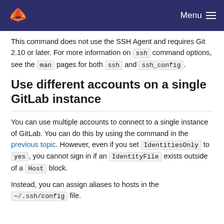GitLab — Menu
This command does not use the SSH Agent and requires Git 2.10 or later. For more information on ssh command options, see the man pages for both ssh and ssh_config.
Use different accounts on a single GitLab instance
You can use multiple accounts to connect to a single instance of GitLab. You can do this by using the command in the previous topic. However, even if you set IdentitiesOnly to yes, you cannot sign in if an IdentityFile exists outside of a Host block.
Instead, you can assign aliases to hosts in the ~/.ssh/config file.